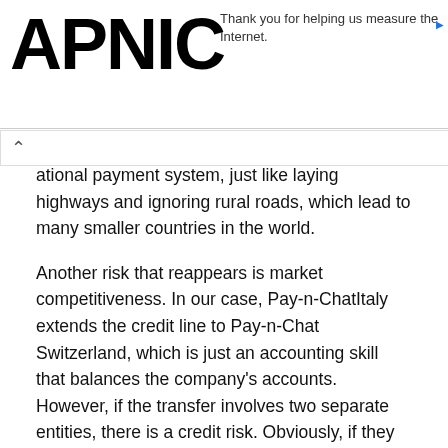APNIC
Thank you for helping us measure the Internet.
ational payment system, just like laying highways and ignoring rural roads, which lead to many smaller countries in the world.
Another risk that reappears is market competitiveness. In our case, Pay-n-ChatItaly extends the credit line to Pay-n-Chat Switzerland, which is just an accounting skill that balances the company's accounts. However, if the transfer involves two separate entities, there is a credit risk. Obviously, if they are still in the same company, the transfer will be cheaper.
Dollarization risk
In most cases, because other countries' financial systems are more susceptible to exchange rate shocks and the